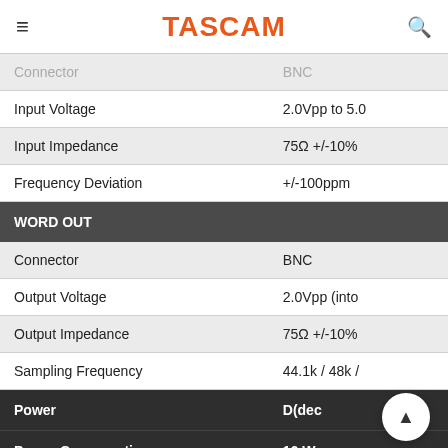TASCAM
| Specification | Value |
| --- | --- |
| Connector | BNC |
| Input Voltage | 2.0Vpp to 5.0... |
| Input Impedance | 75Ω +/-10% |
| Frequency Deviation | +/-100ppm |
| WORD OUT |  |
| Connector | BNC |
| Output Voltage | 2.0Vpp (into... |
| Output Impedance | 75Ω +/-10% |
| Sampling Frequency | 44.1k / 48k /... |
| Power | D... (dec... |
| Power Consumption | 16 W... |
| Dimensions | 482(W) x 44... |